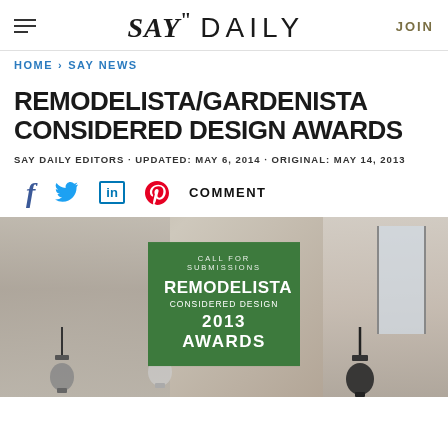SAY" DAILY | JOIN
HOME > SAY NEWS
REMODELISTA/GARDENISTA CONSIDERED DESIGN AWARDS
SAY DAILY EDITORS · UPDATED: MAY 6, 2014 · ORIGINAL: MAY 14, 2013
f  [twitter]  in  [pinterest]  COMMENT
[Figure (photo): Promotional image for Remodelista Considered Design 2013 Awards with a green box overlay showing 'CALL FOR SUBMISSIONS / REMODELISTA / CONSIDERED DESIGN / 2013 AWARDS' text, with hanging light bulbs in the foreground and a decorated interior space in the background.]